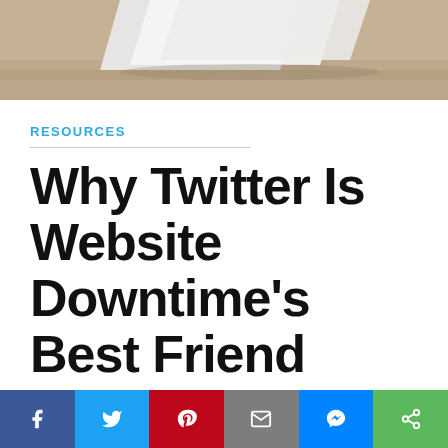[Figure (photo): Top portion of a photo showing what appears to be white paper/cards on a sandy/textured surface]
RESOURCES
Why Twitter Is Website Downtime's Best Friend
By: Michael Esposito    June 13th, 2016
[Figure (infographic): Social sharing bar with Facebook, Twitter, Pinterest, Email, Messenger, and Share buttons]